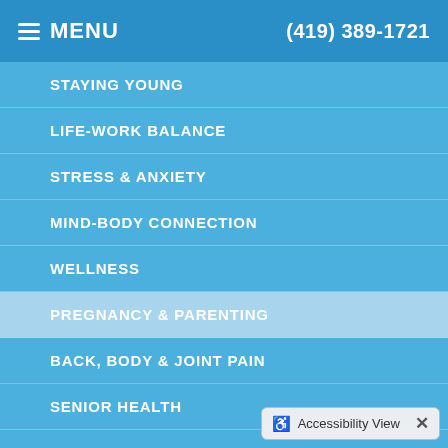MENU  (419) 389-1721
STAYING YOUNG
LIFE-WORK BALANCE
STRESS & ANXIETY
MIND-BODY CONNECTION
WELLNESS
PREGNANCY & PARENTING
BACK, BODY & JOINT PAIN
SENIOR HEALTH
BREAKING BAD HABITS
HEALTHY TIPS
EXERCISE & FITNESS
Accessibility View